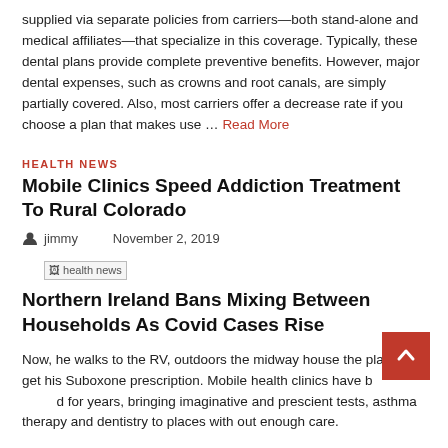supplied via separate policies from carriers—both stand-alone and medical affiliates—that specialize in this coverage. Typically, these dental plans provide complete preventive benefits. However, major dental expenses, such as crowns and root canals, are simply partially covered. Also, most carriers offer a decrease rate if you choose a plan that makes use … Read More
HEALTH NEWS
Mobile Clinics Speed Addiction Treatment To Rural Colorado
jimmy   November 2, 2019
[Figure (photo): health news image placeholder]
Northern Ireland Bans Mixing Between Households As Covid Cases Rise
Now, he walks to the RV, outdoors the midway house the place, to get his Suboxone prescription. Mobile health clinics have been around for years, bringing imaginative and prescient tests, asthma therapy and dentistry to places with out enough care.